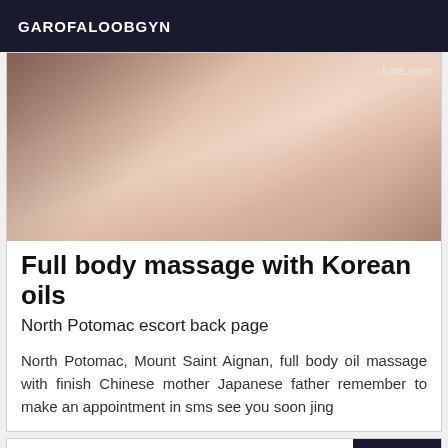GAROFALOOBGYN
[Figure (photo): Blurred close-up photo of a person with watermark text visible]
Full body massage with Korean oils
North Potomac escort back page
North Potomac, Mount Saint Aignan, full body oil massage with finish Chinese mother Japanese father remember to make an appointment in sms see you soon jing
Online